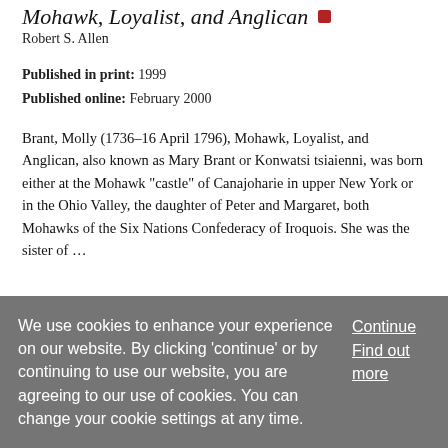Mohawk, Loyalist, and Anglican
Robert S. Allen
Published in print: 1999
Published online: February 2000
Brant, Molly (1736–16 April 1796), Mohawk, Loyalist, and Anglican, also known as Mary Brant or Konwatsi tsiaienni, was born either at the Mohawk “castle” of Canajoharie in upper New York or in the Ohio Valley, the daughter of Peter and Margaret, both Mohawks of the Six Nations Confederacy of Iroquois. She was the sister of …
We use cookies to enhance your experience on our website. By clicking 'continue' or by continuing to use our website, you are agreeing to our use of cookies. You can change your cookie settings at any time.
Continue
Find out more